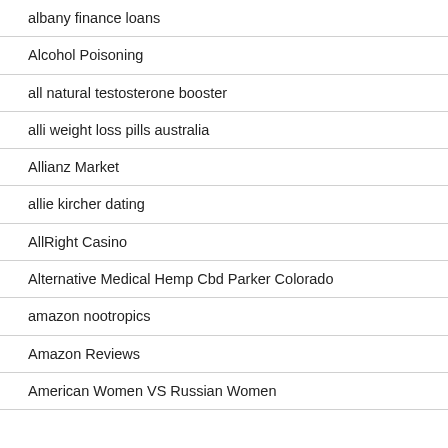albany finance loans
Alcohol Poisoning
all natural testosterone booster
alli weight loss pills australia
Allianz Market
allie kircher dating
AllRight Casino
Alternative Medical Hemp Cbd Parker Colorado
amazon nootropics
Amazon Reviews
American Women VS Russian Women